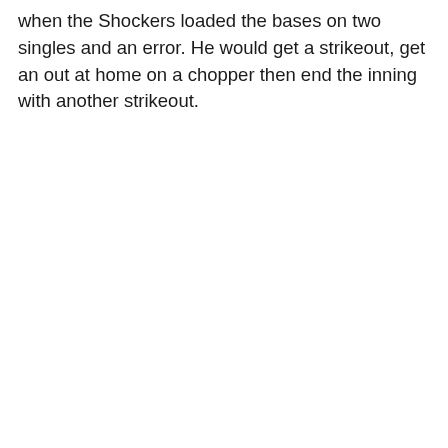when the Shockers loaded the bases on two singles and an error. He would get a strikeout, get an out at home on a chopper then end the inning with another strikeout.